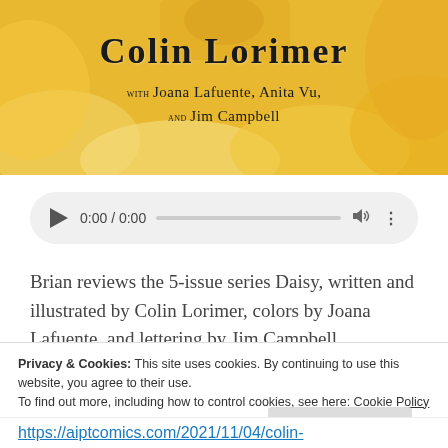[Figure (illustration): Yellow/golden comic book cover art banner showing Colin Lorimer with Joana Lafuente, Anita Vu, and Jim Campbell credits in stylized text over golden flame/cloud artwork]
[Figure (screenshot): Audio player control bar showing play button, time 0:00 / 0:00, progress bar, volume icon, and more options icon]
Brian reviews the 5-issue series Daisy, written and illustrated by Colin Lorimer, colors by Joana Lafuente, and lettering by Jim Campbell, published by Dark Horse. He discusses its relationship to the apocryphal Book of Enoch,
Privacy & Cookies: This site uses cookies. By continuing to use this website, you agree to their use.
To find out more, including how to control cookies, see here: Cookie Policy
Close and accept
https://aiptcomics.com/2021/11/04/colin-